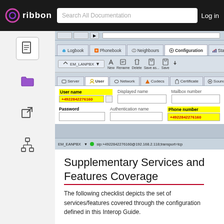ribbon  Search All Documentation  Log in
[Figure (screenshot): Software configuration dialog showing a SIP user configuration screen with 'User name' field highlighted in yellow containing '+4922842276160', and 'Phone number' field highlighted in yellow containing '+4922842276160'. Tabs visible: Logbook, Phonebook, Neighbours, Configuration (active), Statistics. Sub-tabs: Server, User (active), Network, Codecs, Certificate, Sound. Status bar shows: EM_EANPBX, sip:+4922842276160@192.168.2.118;transport=tcp]
Supplementary Services and Features Coverage
The following checklist depicts the set of services/features covered through the configuration defined in this Interop Guide.